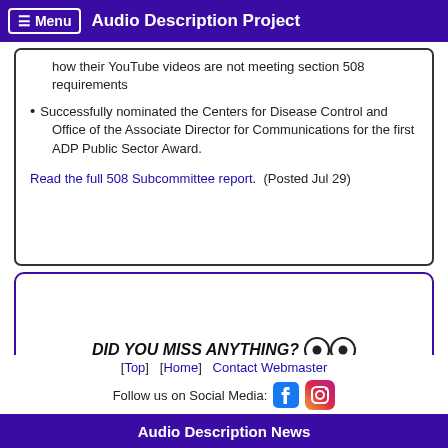Menu  Audio Description Project
how their YouTube videos are not meeting section 508 requirements
Successfully nominated the Centers for Disease Control and Office of the Associate Director for Communications for the first ADP Public Sector Award.
Read the full 508 Subcommittee report.  (Posted Jul 29)
DID YOU MISS ANYTHING? 👀 Previous AD News Articles
Audio Description News
[Top]  [Home]  Contact Webmaster  Follow us on Social Media: